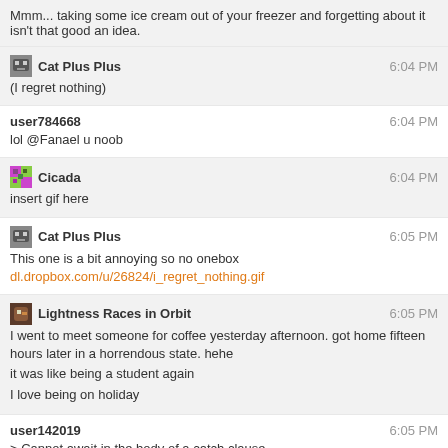Mmm... taking some ice cream out of your freezer and forgetting about it isn't that good an idea.
Cat Plus Plus  6:04 PM
(I regret nothing)
user784668  6:04 PM
lol @Fanael u noob
Cicada  6:04 PM
insert gif here
Cat Plus Plus  6:05 PM
This one is a bit annoying so no onebox dl.dropbox.com/u/26824/i_regret_nothing.gif
Lightness Races in Orbit  6:05 PM
I went to meet someone for coffee yesterday afternoon. got home fifteen hours later in a horrendous state. hehe
it was like being a student again
I love being on holiday
user142019  6:05 PM
> Cannot await in the body of a catch clause.
user142019  6:05 PM
What the fuck C#.
Cat Plus Plus  6:05 PM
Semester starts tomorrow